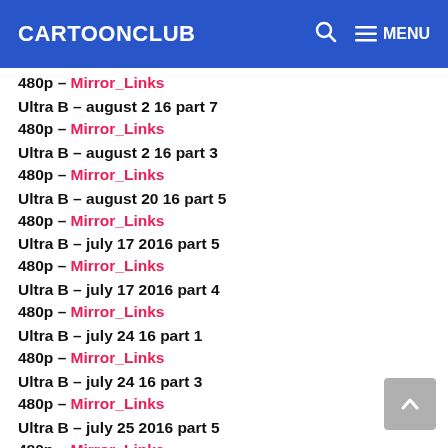CARTOONCLUB
480p – Mirror_Links
Ultra B – august 2 16 part 7
480p – Mirror_Links
Ultra B – august 2 16 part 3
480p – Mirror_Links
Ultra B – august 20 16 part 5
480p – Mirror_Links
Ultra B – july 17 2016 part 5
480p – Mirror_Links
Ultra B – july 17 2016 part 4
480p – Mirror_Links
Ultra B – july 24 16 part 1
480p – Mirror_Links
Ultra B – july 24 16 part 3
480p – Mirror_Links
Ultra B – july 25 2016 part 5
480p – Mirror_Links
Ultra B – june 8 16 part 1
480p – Mirror_Links